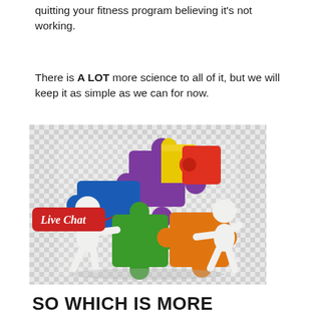quitting your fitness program believing it's not working.
There is A LOT more science to all of it, but we will keep it as simple as we can for now.
[Figure (illustration): Two white 3D figurines assembling colorful puzzle pieces (blue, yellow, red, purple, green, orange). A red speech bubble labeled 'Live Chat' appears on the left figure. The background has a checkered transparent pattern.]
SO WHICH IS MORE